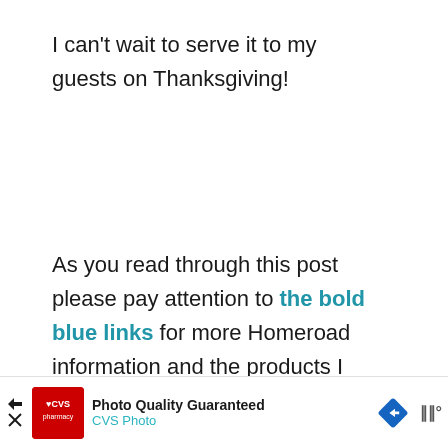I can't wait to serve it to my guests on Thanksgiving!
As you read through this post please pay attention to the bold blue links for more Homeroad information and the products I used for this project.
[Figure (other): Heart/favorite button (teal circle with white heart icon) and share button (light grey circle with share icon)]
[Figure (other): What's Next widget showing a circular thumbnail image with colorful text and label 'WHAT'S NEXT → Beaded Wreath Hanger']
[Figure (other): CVS Photo advertisement banner showing CVS pharmacy logo, 'Photo Quality Guaranteed' text, CVS Photo subtitle, a blue diamond arrow icon, and a partially visible logo]